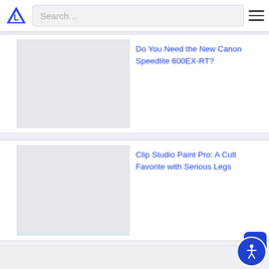Search…
Do You Need the New Canon Speedlite 600EX-RT?
[Figure (photo): Thumbnail image placeholder for Canon Speedlite 600EX-RT article]
Clip Studio Paint Pro: A Cult Favorite with Serious Legs
[Figure (photo): Thumbnail image placeholder for Clip Studio Paint Pro article]